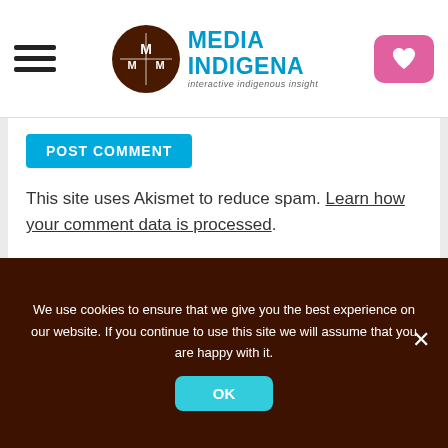[Figure (logo): Media Indigena logo with brown circular badge and cyan text reading MEDIA INDIGENA, tagline: interactive indigenous insight]
POST COMMENT
This site uses Akismet to reduce spam. Learn how your comment data is processed.
We use cookies to ensure that we give you the best experience on our website. If you continue to use this site we will assume that you are happy with it.
OK